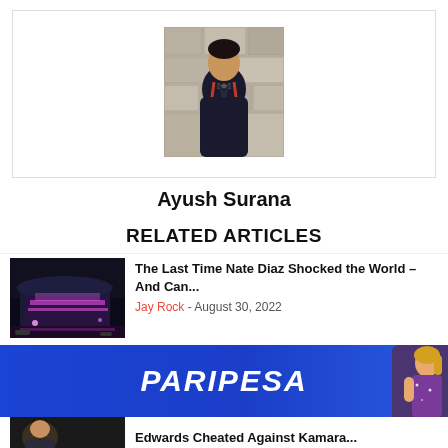[Figure (photo): Profile photo of Ayush Surana, a young man in a black outfit with red suspenders and a bow tie, standing in front of a stone wall background.]
Ayush Surana
RELATED ARTICLES
[Figure (photo): Night photo of a large illuminated arena or stadium with purple/pink lighting and signage.]
The Last Time Nate Diaz Shocked the World – And Can...
Jay Rock - August 30, 2022
[Figure (photo): Paripesa advertisement banner with blue gradient background and white italic bold text reading PARIPESA, with a woman in a purple outfit on the right side.]
Edwards Cheated Against Kamara...